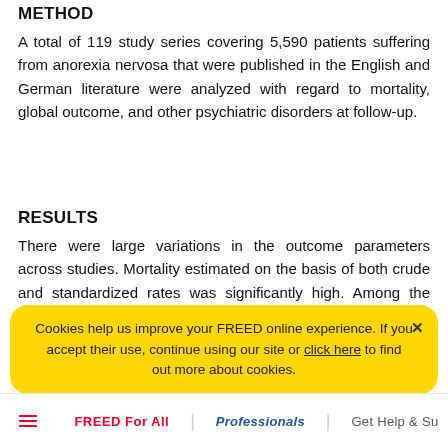METHOD
A total of 119 study series covering 5,590 patients suffering from anorexia nervosa that were published in the English and German literature were analyzed with regard to mortality, global outcome, and other psychiatric disorders at follow-up.
RESULTS
There were large variations in the outcome parameters across studies. Mortality estimated on the basis of both crude and standardized rates was significantly high. Among the surviving patients, less than one-half recovered on average, whereas one-third improved, and 20% remained chronically ill. The normalization of the core symptoms, involving weight, menstruation, and eating behaviors, was slightly better when each symptom was analyzed in
Cookies help us improve your FREED online experience. If you accept their use, continue using our site or click here to find out more about cookies.
FREED For All | Professionals | Get Help & Su